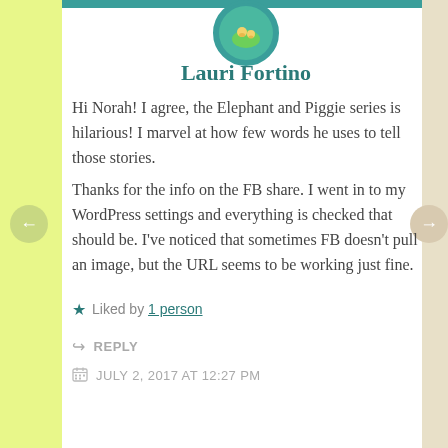[Figure (illustration): Circular avatar with teal border showing an illustration of characters (Elephant and Piggie style) on a green background]
Lauri Fortino
Hi Norah! I agree, the Elephant and Piggie series is hilarious! I marvel at how few words he uses to tell those stories.
Thanks for the info on the FB share. I went in to my WordPress settings and everything is checked that should be. I've noticed that sometimes FB doesn't pull an image, but the URL seems to be working just fine.
★ Liked by 1 person
↳ REPLY
JULY 2, 2017 AT 12:27 PM